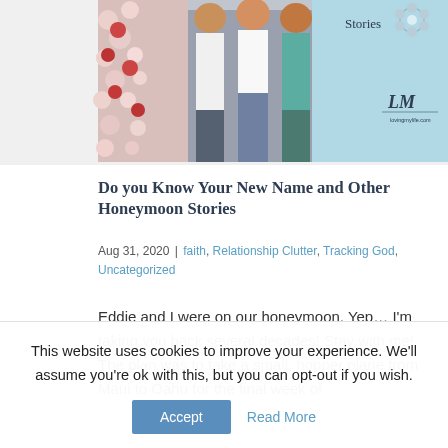[Figure (photo): Banner image showing three women posing together in front of a floral backdrop, alongside a light blue panel with 'Stories' text and a decorative flower icon and logo]
Do you Know Your New Name and Other Honeymoon Stories
Aug 31, 2020 | faith, Relationship Clutter, Tracking God, Uncategorized
Eddie and I were on our honeymoon. Yep… I'm taking you back several decades! Stay with me! The plan was to take a small, hopper plane from Maui to Oahu for the final week of
This website uses cookies to improve your experience. We'll assume you're ok with this, but you can opt-out if you wish.